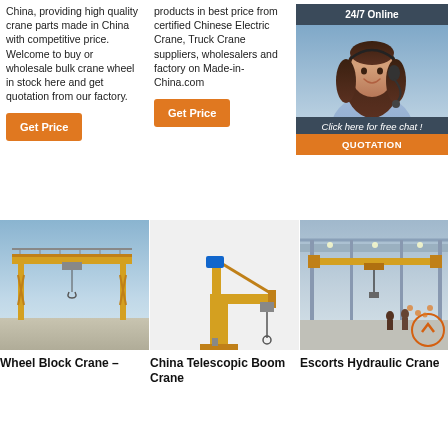China, providing high quality crane parts made in China with competitive price. Welcome to buy or wholesale bulk crane wheel in stock here and get quotation from our factory.
Get Price
products in best price from certified Chinese Electric Crane, Truck Crane suppliers, wholesalers and factory on Made-in-China.com
Get Price
Crane Wheels for buying in India.
Get Price
24/7 Online
[Figure (photo): Customer service representative with headset smiling]
Click here for free chat !
QUOTATION
[Figure (photo): Wheel Block Crane - yellow gantry crane outdoors]
Wheel Block Crane –
[Figure (photo): China Telescopic Boom Crane - yellow jib crane]
China Telescopic Boom Crane
[Figure (photo): Escorts Hydraulic Crane inside warehouse]
Escorts Hydraulic Crane